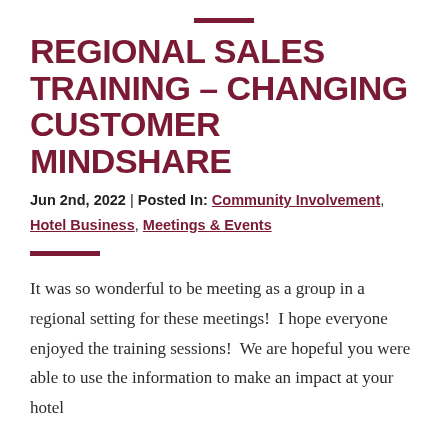REGIONAL SALES TRAINING – CHANGING CUSTOMER MINDSHARE
Jun 2nd, 2022 | Posted In: Community Involvement, Hotel Business, Meetings & Events
It was so wonderful to be meeting as a group in a regional setting for these meetings!  I hope everyone enjoyed the training sessions!  We are hopeful you were able to use the information to make an impact at your hotel